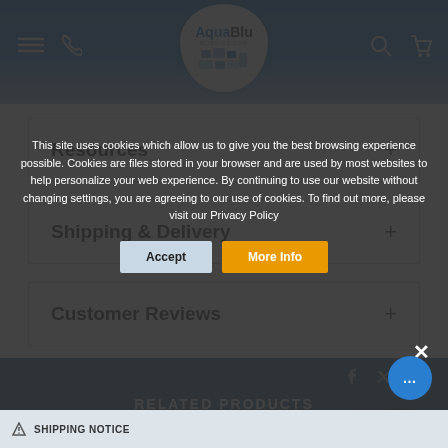AquaBlu Mosaics.com
Resources +
Shipping & Delivery +
Customer Reviews +
RELATED PRODUCTS
This site uses cookies which allow us to give you the best browsing experience possible. Cookies are files stored in your browser and are used by most websites to help personalize your web experience. By continuing to use our website without changing settings, you are agreeing to our use of cookies. To find out more, please visit our Privacy Policy
⚠ SHIPPING NOTICE
Accept
More Info